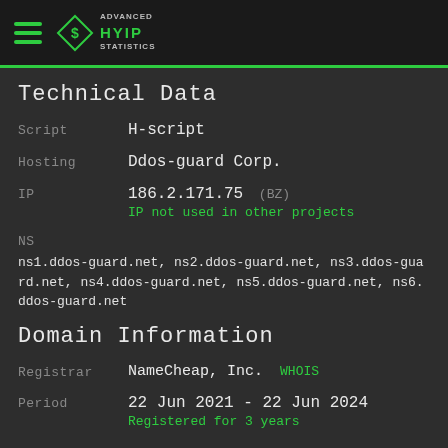Advanced HYIP Statistics
Technical Data
Script: H-script
Hosting: Ddos-guard Corp.
IP: 186.2.171.75 (BZ)
IP not used in other projects
NS
ns1.ddos-guard.net, ns2.ddos-guard.net, ns3.ddos-guard.net, ns4.ddos-guard.net, ns5.ddos-guard.net, ns6.ddos-guard.net
Domain Information
Registrar: NameCheap, Inc. WHOIS
Period: 22 Jun 2021 - 22 Jun 2024
Registered for 3 years